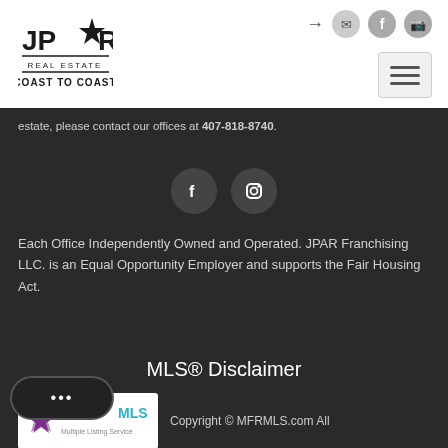[Figure (logo): JPAR Real Estate Coast to Coast logo — black star and letters on white background]
estate, please contact our offices at 407-818-8740.
[Figure (illustration): Two dark circular social media icon buttons: Facebook (f) and Instagram camera icon]
Each Office Independently Owned and Operated. JPAR Franchising LLC. is an Equal Opportunity Employer and supports the Fair Housing Act.
MLS® Disclaimer
[Figure (logo): Stellar MLS logo — purple starburst icon with 'Stellar MLS' text in purple and teal]
Copyright © MFRMLS.com All
deemed reliable but not guaranteed. All properties
are subject to prior sale, change or withdrawal. Neither listing